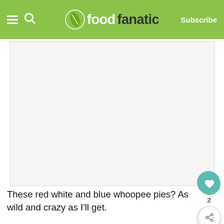Food Fanatic — Subscribe
[Figure (photo): White/blank image placeholder area below the header]
These red white and blue whoopee pies? As wild and crazy as I'll get.
These red, white and blue whoopee pies use cake mix and are filled with a fluffy marshmallo... They are so delicious and festive!
Enj...